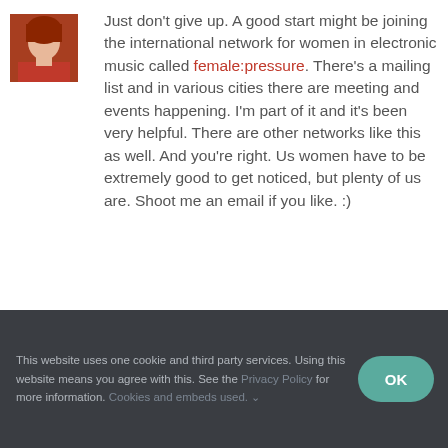[Figure (photo): Small avatar photo of a woman with red/auburn hair wearing a red top]
Just don't give up. A good start might be joining the international network for women in electronic music called female:pressure. There's a mailing list and in various cities there are meeting and events happening. I'm part of it and it's been very helpful. There are other networks like this as well. And you're right. Us women have to be extremely good to get noticed, but plenty of us are. Shoot me an email if you like. :)
This website uses one cookie and third party services. Using this website means you agree with this. See the Privacy Policy for more information. Cookies and embeds used. ∨